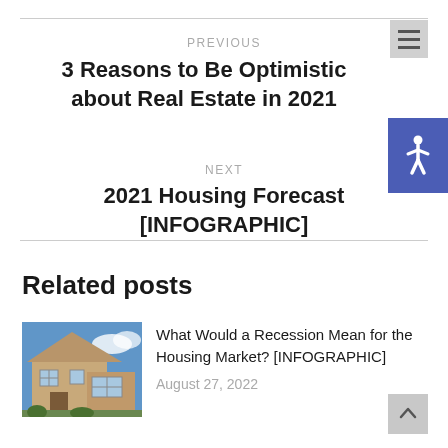PREVIOUS
3 Reasons to Be Optimistic about Real Estate in 2021
NEXT
2021 Housing Forecast [INFOGRAPHIC]
Related posts
[Figure (photo): Photo of a brick house exterior with blue sky]
What Would a Recession Mean for the Housing Market? [INFOGRAPHIC]
August 27, 2022